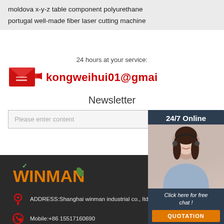moldova x-y-z table component polyurethane
portugal well-made fiber laser cutting machine
24 hours at your service:
kongweihui01@gmail...
Newsletter
Please enter content
[Figure (logo): WINMAN orange logo with green checkmark]
[Figure (photo): 24/7 Online chat support woman with headset]
Click here for free chat !
QUOTATION
ADDRESS:Shanghai winman industrial co., ltd
Mobile:+86 15517160690
E-mail:kongweihui01@gmail.com